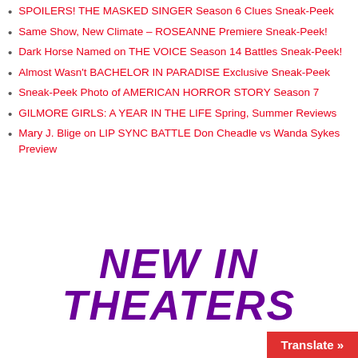SPOILERS! THE MASKED SINGER Season 6 Clues Sneak-Peek
Same Show, New Climate – ROSEANNE Premiere Sneak-Peek!
Dark Horse Named on THE VOICE Season 14 Battles Sneak-Peek!
Almost Wasn't BACHELOR IN PARADISE Exclusive Sneak-Peek
Sneak-Peek Photo of AMERICAN HORROR STORY Season 7
GILMORE GIRLS: A YEAR IN THE LIFE Spring, Summer Reviews
Mary J. Blige on LIP SYNC BATTLE Don Cheadle vs Wanda Sykes Preview
NEW IN THEATERS